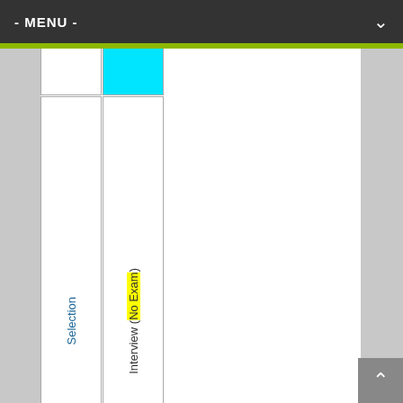- MENU -
| Application Fee | No Application Fee | Selection | Interview (No Exam) |
| --- | --- | --- | --- |
| Application Fee | No Application Fee | Selection | Interview (No Exam) |
| A | On |